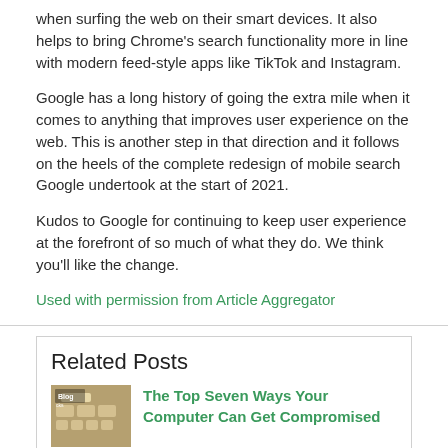when surfing the web on their smart devices. It also helps to bring Chrome's search functionality more in line with modern feed-style apps like TikTok and Instagram.
Google has a long history of going the extra mile when it comes to anything that improves user experience on the web. This is another step in that direction and it follows on the heels of the complete redesign of mobile search Google undertook at the start of 2021.
Kudos to Google for continuing to keep user experience at the forefront of so much of what they do. We think you'll like the change.
Used with permission from Article Aggregator
Related Posts
The Top Seven Ways Your Computer Can Get Compromised